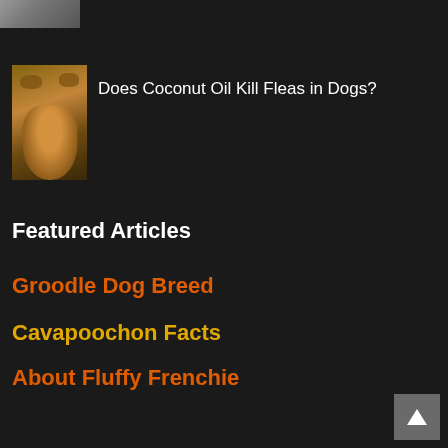[Figure (photo): Partial cropped image at top left corner, small strip visible]
[Figure (photo): Small thumbnail photo of a brown/tan puppy dog sitting]
Does Coconut Oil Kill Fleas in Dogs?
Featured Articles
Groodle Dog Breed
Cavapoochon Facts
About Fluffy Frenchie
Bernedoodle Dog Profile
Lycan Shepherd Dog